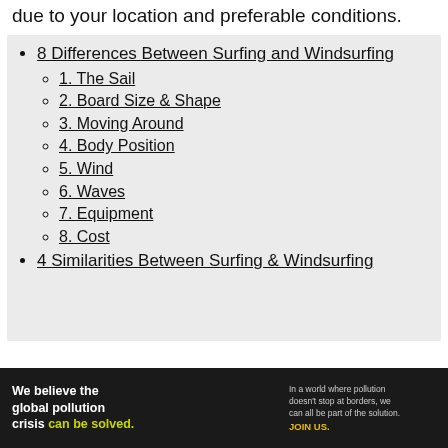due to your location and preferable conditions.
8 Differences Between Surfing and Windsurfing
1. The Sail
2. Board Size & Shape
3. Moving Around
4. Body Position
5. Wind
6. Waves
7. Equipment
8. Cost
4 Similarities Between Surfing & Windsurfing
[Figure (infographic): Pure Earth advertisement banner: 'We believe the global pollution crisis can be solved.' with tagline about pollution not stopping at borders and a call to 'JOIN US.' with Pure Earth logo.]